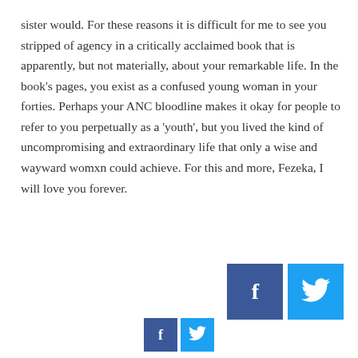sister would. For these reasons it is difficult for me to see you stripped of agency in a critically acclaimed book that is apparently, but not materially, about your remarkable life. In the book’s pages, you exist as a confused young woman in your forties. Perhaps your ANC bloodline makes it okay for people to refer to you perpetually as a ‘youth’, but you lived the kind of uncompromising and extraordinary life that only a wise and wayward womxn could achieve. For this and more, Fezeka, I will love you forever.
[Figure (other): Facebook and Twitter share buttons (large), positioned top-right area]
[Figure (other): Facebook and Twitter share buttons (small), positioned bottom-center]